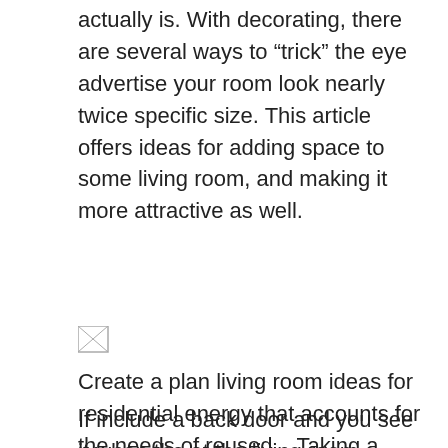actually is. With decorating, there are several ways to “trick” the eye advertise your room look nearly twice specific size. This article offers ideas for adding space to some living room, and making it more attractive as well.
[Figure (photo): Small broken image icon placeholder]
Create a plan living room ideas for residential energy that accounts for the needs of reused .. Taking a close look at the floor space available, you can do decide upon the type of furniture spot and the location of each bit. To achieve that designer look, maintain uniformity in the pieces of furniture type at the time of.
If include a back door and you see it when the at the living room entrance, anyone then should try to